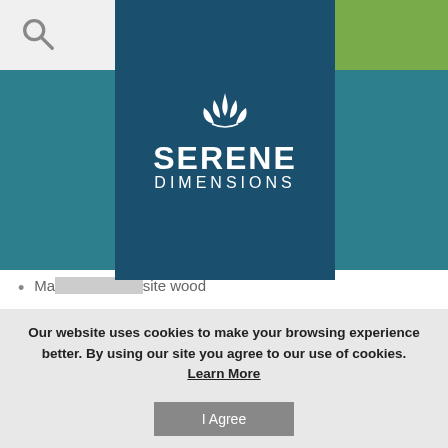[Figure (logo): Serene Dimensions logo with lotus flower icon, white text on dark navy background]
Ma[partially hidden]site wood
5 R[partially hidden]
Sintec drawer glides w/ positive stops
Brushed nickel handles
Matching metal legs
Engineered to exact specifications
Earned the Forest Stewardship Council (FSC) cer[partially hidden]
Our website uses cookies to make your browsing experience better. By using our site you agree to our use of cookies. Learn More
I Agree